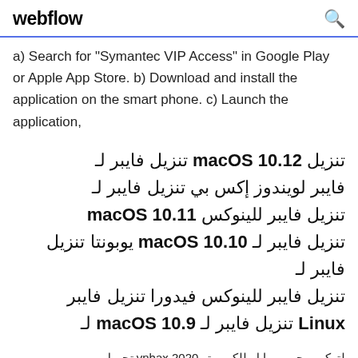webflow [search icon]
a) Search for "Symantec VIP Access" in Google Play or Apple App Store. b) Download and install the application on the smart phone. c) Launch the application,
تنزيل macOS 10.12 تنزيل فايبر لـ فايبر لويندوز إکس بي تنزيل فايبر لـ تنزيل فايبر للينوكس macOS 10.11 تنزيل فايبر لـ macOS 10.10 يوبونتا تنزيل فايبر للينوكس فيدورا تنزيل فايبر Linux تنزيل فايبر لـ macOS 10.9 لـ
تحميل vnhax 2020 لتهكير ببجي موبايل للكمبيوتر (vnhax-vip 0.19.0) للاصدار الاخير من لعبة ببجي موبايل